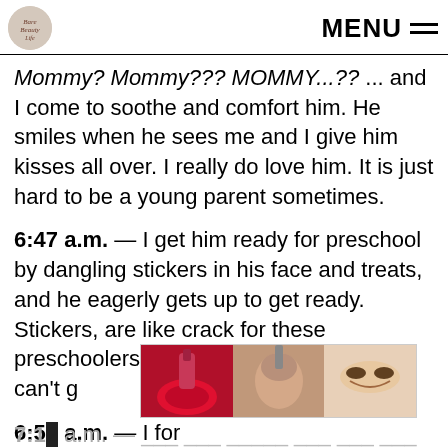MENU
Mommy? Mommy??? MOMMY...?? ... and I come to soothe and comfort him. He smiles when he sees me and I give him kisses all over. I really do love him. It is just hard to be a young parent sometimes.
6:47 a.m. — I get him ready for preschool by dangling stickers in his face and treats, and he eagerly gets up to get ready. Stickers, are like crack for these preschoolers. CRACK, I tell you. They can't g
6:50 a.m. — I for
my partner gives
cas
[Figure (photo): Advertisement or decorative image showing cosmetics: lipstick/lips, makeup brush, and eye makeup in three panels]
7:1_ a.m. — ___ ___ _____ ___ ___ ___ ___